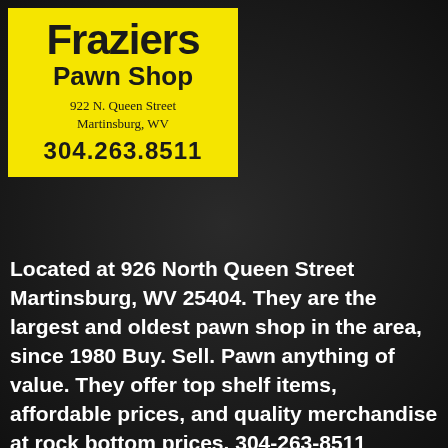[Figure (logo): Fraziers Pawn Shop logo on yellow background with address 922 N. Queen Street, Martinsburg, WV and phone 304.263.8511]
Located at 926 North Queen Street Martinsburg, WV 25404. They are the largest and oldest pawn shop in the area, since 1980 Buy. Sell. Pawn anything of value. They offer top shelf items, affordable prices, and quality merchandise at rock bottom prices. 304-263-8511 http://www.frazierspawnshop.com/